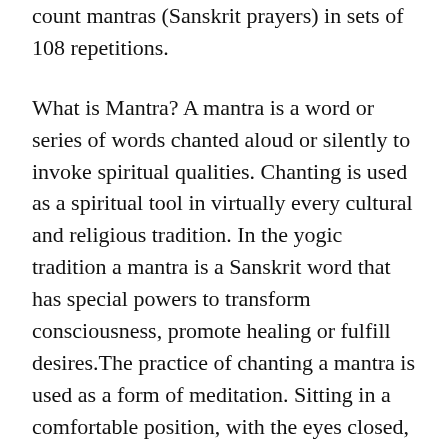count mantras (Sanskrit prayers) in sets of 108 repetitions.
What is Mantra? A mantra is a word or series of words chanted aloud or silently to invoke spiritual qualities. Chanting is used as a spiritual tool in virtually every cultural and religious tradition. In the yogic tradition a mantra is a Sanskrit word that has special powers to transform consciousness, promote healing or fulfill desires.The practice of chanting a mantra is used as a form of meditation. Sitting in a comfortable position, with the eyes closed, the mantra is repeated silently or aloud. The mind is focused on the mantra, the thoughts are let go of and the breath is slow and deep.
What is Japa? Malas are used for keeping count while reciting, chanting, or mentally repeating a mantra or